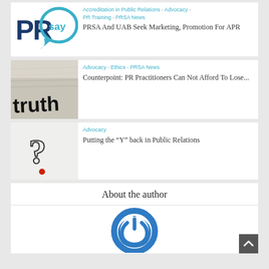[Figure (logo): PRSay logo - blue PR letters with teal speech bubble containing 'say']
Accreditation in Public Relations · Advocacy · PR Training · PRSA News
PRSA And UAB Seek Marketing, Promotion For APR
[Figure (photo): Newspaper closeup with word 'truth' visible in bold black text]
Advocacy · Ethics · PRSA News
Counterpoint: PR Practitioners Can Not Afford To Lose...
[Figure (illustration): Question mark illustration on light gray background with red dot at bottom]
Advocacy
Putting the "Y" back in Public Relations
About the author
[Figure (logo): Blue circular power/user icon logo]